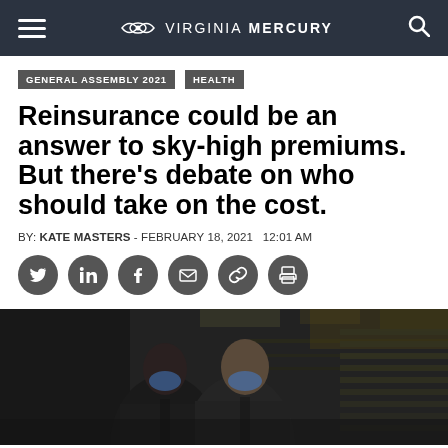VIRGINIA MERCURY
GENERAL ASSEMBLY 2021
HEALTH
Reinsurance could be an answer to sky-high premiums. But there’s debate on who should take on the cost.
BY: KATE MASTERS - FEBRUARY 18, 2021  12:01 AM
[Figure (photo): Two men wearing face masks in a legislative chamber setting, photographed from a low angle. One man is Black and the other is white; both are wearing suits.]